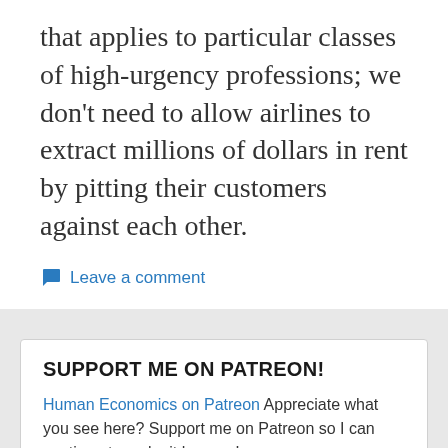that applies to particular classes of high-urgency professions; we don't need to allow airlines to extract millions of dollars in rent by pitting their customers against each other.
Leave a comment
SUPPORT ME ON PATREON!
Human Economics on Patreon Appreciate what you see here? Support me on Patreon so I can continue to make it happen!